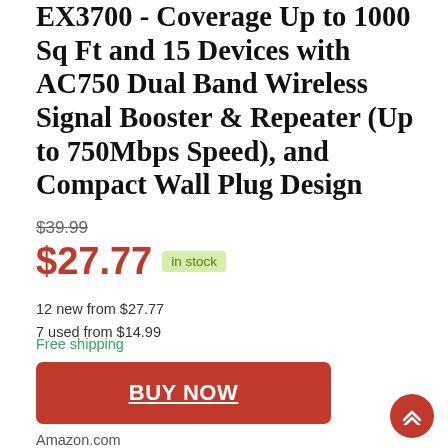EX3700 - Coverage Up to 1000 Sq Ft and 15 Devices with AC750 Dual Band Wireless Signal Booster & Repeater (Up to 750Mbps Speed), and Compact Wall Plug Design
$39.99
$27.77 in stock
12 new from $27.77
7 used from $14.99
Free shipping
BUY NOW
Amazon.com
as of September 2, 2022 9:47 am